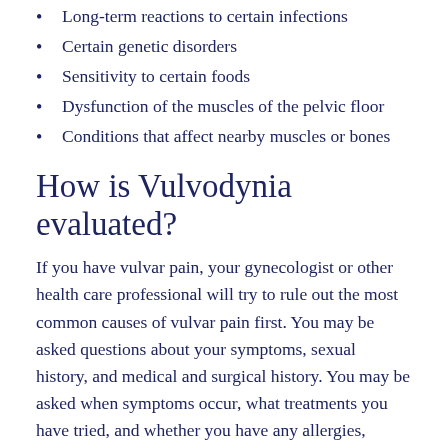Long-term reactions to certain infections
Certain genetic disorders
Sensitivity to certain foods
Dysfunction of the muscles of the pelvic floor
Conditions that affect nearby muscles or bones
How is Vulvodynia evaluated?
If you have vulvar pain, your gynecologist or other health care professional will try to rule out the most common causes of vulvar pain first. You may be asked questions about your symptoms, sexual history, and medical and surgical history. You may be asked when symptoms occur, what treatments you have tried, and whether you have any allergies, chronic infections, or skin problems.
Your gynecologist also will examine the vulva and vagina carefully. A sample of discharge from the vagina may be taken. Your gynecologist may use a cotton swab to touch areas of the vulva. The goal is to find where the pain is and